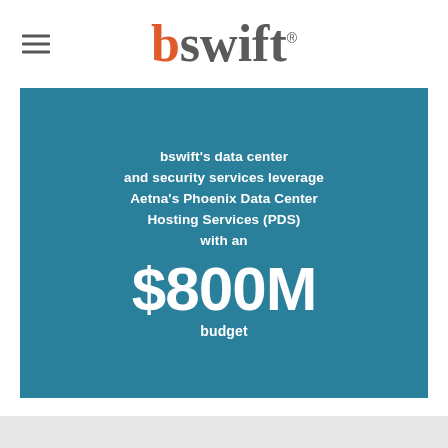[Figure (logo): bswift logo with orange 'b' and gray 'swift' text with registered trademark symbol, plus hamburger menu icon on left]
bswift's data center and security services leverage Aetna's Phoenix Data Center Hosting Services (PDS) with an $800M budget